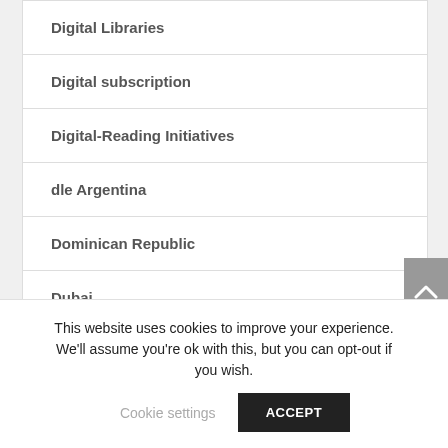Digital Libraries
Digital subscription
Digital-Reading Initiatives
dle Argentina
Dominican Republic
Dubai
This website uses cookies to improve your experience. We'll assume you're ok with this, but you can opt-out if you wish.
Cookie settings   ACCEPT